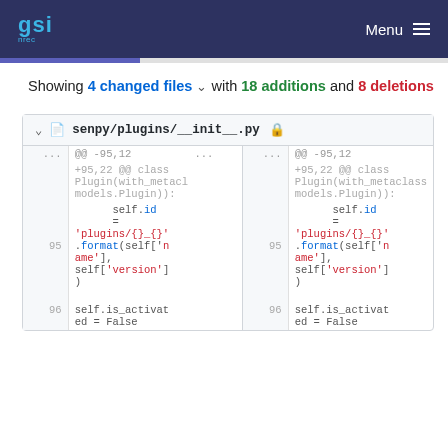gsi  Menu
Showing 4 changed files with 18 additions and 8 deletions
| ... | @@ -95,12 ... | @@ -95,12 |
| --- | --- | --- |
| ... | @@ -95,12 ... +95,22 @@ class Plugin(with_metacl models.Plugin)): | @@ -95,12 +95,22 @@ class Plugin(with_metaclass models.Plugin)): |
| 95 | self.id = 'plugins/{}_{}' .format(self['n ame'], self['version'] ) | 95  self.id = 'plugins/{}_{}' .format(self['n ame'], self['version'] ) |
| 96 |  | 96  self.is_activat ed = False |